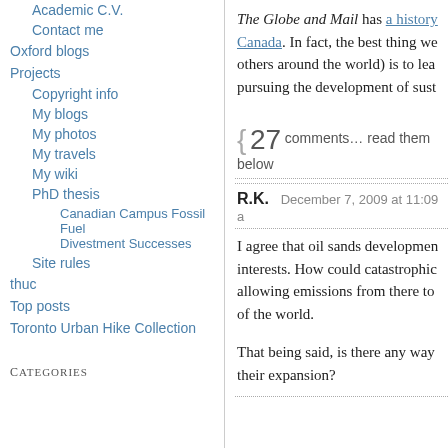Academic C.V.
Contact me
Oxford blogs
Projects
Copyright info
My blogs
My photos
My travels
My wiki
PhD thesis
Canadian Campus Fossil Fuel Divestment Successes
Site rules
thuc
Top posts
Toronto Urban Hike Collection
Categories
The Globe and Mail has a history [link] Canada. In fact, the best thing we others around the world) is to lea pursuing the development of sust
{ 27 comments… read them below
R.K.    December 7, 2009 at 11:09 a
I agree that oil sands developmen interests. How could catastrophic allowing emissions from there to of the world.
That being said, is there any way their expansion?